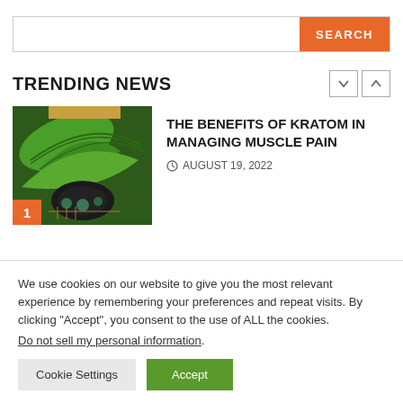[Figure (other): Search bar with orange SEARCH button on the right]
TRENDING NEWS
[Figure (photo): Photo of kratom leaves and powder in a bowl on a bamboo mat background, with an orange badge showing '1']
THE BENEFITS OF KRATOM IN MANAGING MUSCLE PAIN
AUGUST 19, 2022
We use cookies on our website to give you the most relevant experience by remembering your preferences and repeat visits. By clicking "Accept", you consent to the use of ALL the cookies.
Do not sell my personal information.